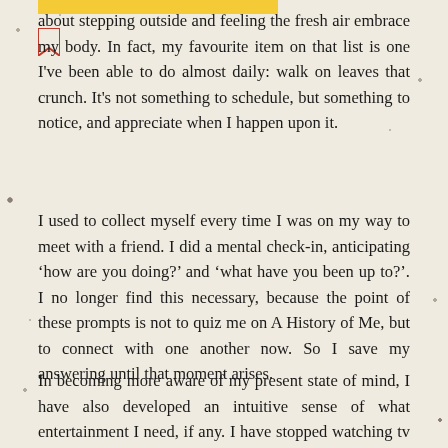about stepping outside and feeling the fresh air embrace my body. In fact, my favourite item on that list is one I've been able to do almost daily: walk on leaves that crunch. It's not something to schedule, but something to notice, and appreciate when I happen upon it.
I used to collect myself every time I was on my way to meet with a friend. I did a mental check-in, anticipating ‘how are you doing?’ and ‘what have you been up to?’. I no longer find this necessary, because the point of these prompts is not to quiz me on A History of Me, but to connect with one another now. So I save my answering until that moment arises.
In becoming more aware of my present state of mind, I have also developed an intuitive sense of what entertainment I need, if any. I have stopped watching tv shows while eating, because I find it overwhelming to concentrate on so many things at once.